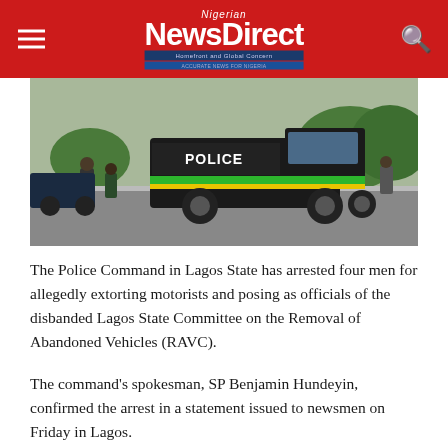Nigerian NewsDirect
[Figure (photo): A black police pickup truck with yellow and green stripes parked on a street, with people standing nearby and trees in the background.]
The Police Command in Lagos State has arrested four men for allegedly extorting motorists and posing as officials of the disbanded Lagos State Committee on the Removal of Abandoned Vehicles (RAVC).
The command's spokesman, SP Benjamin Hundeyin, confirmed the arrest in a statement issued to newsmen on Friday in Lagos.
It noted that the suspects, Taiwo Falodun, also known as Bico, 48, Olanivi Adeolino, 48, Emeni Crawford, 52, and...